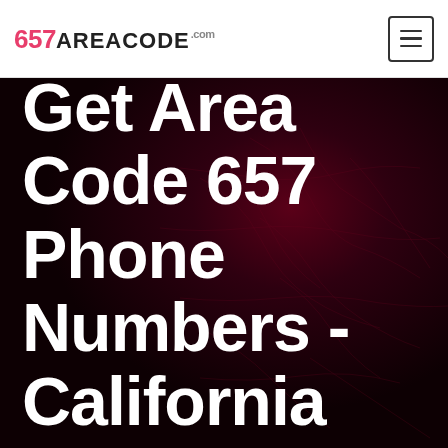657AREACODE.com
Get Area Code 657 Phone Numbers - California